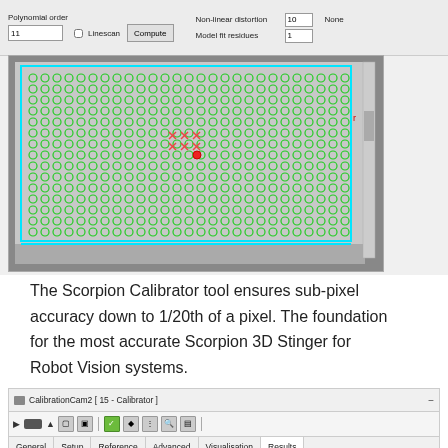[Figure (screenshot): Scorpion Calibrator software interface showing a calibration grid with many green circular dot markers detected on a calibration plate. A cyan/blue border outlines the calibration area. Some red cross markers indicate outliers or errors near the center. The UI shows fields for Polynomial order (11), Non-linear distortion (10), Model fit residues (1), with Linescan checkbox and Compute button.]
The Scorpion Calibrator tool ensures sub-pixel accuracy down to 1/20th of a pixel. The foundation for the most accurate Scorpion 3D Stinger for Robot Vision systems.
[Figure (screenshot): Bottom portion of CalibrationCam2 [15 - Calibrator] window showing toolbar icons and tabs: General, Setup, Reference, Advanced, Visualisation, Results]